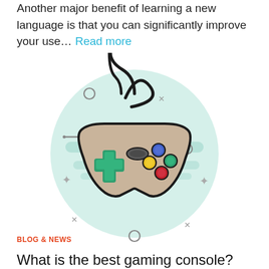Another major benefit of learning a new language is that you can significantly improve your use… Read more
[Figure (illustration): Colorful cartoon-style illustration of a retro video game controller with a cord. The controller is beige/tan with a green cross/D-pad on the left, a center oval button, and colored buttons (blue, green, yellow, red) on the right. The background features a teal/mint circle with horizontal stripes, surrounded by decorative symbols (circles, x marks, plus signs, dashes) in gray.]
BLOG & NEWS
What is the best gaming console?